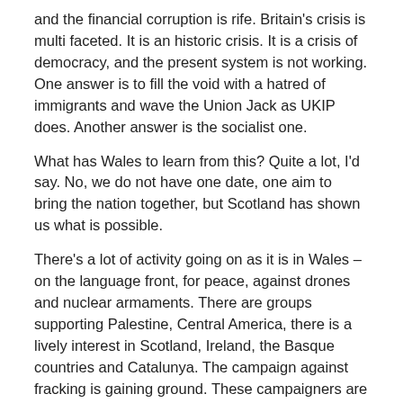and the financial corruption is rife. Britain's crisis is multi faceted. It is an historic crisis. It is a crisis of democracy, and the present system is not working. One answer is to fill the void with a hatred of immigrants and wave the Union Jack as UKIP does. Another answer is the socialist one.
What has Wales to learn from this? Quite a lot, I'd say. No, we do not have one date, one aim to bring the nation together, but Scotland has shown us what is possible.
There's a lot of activity going on as it is in Wales – on the language front, for peace, against drones and nuclear armaments. There are groups supporting Palestine, Central America, there is a lively interest in Scotland, Ireland, the Basque countries and Catalunya. The campaign against fracking is gaining ground. These campaigners are against the Cuts, and strong supporters of public services. There are fierce campaigns against large housing developments.
I'd like to see these groups coming together and start to pose the question, 'What kind of Wales would we like to see?' This